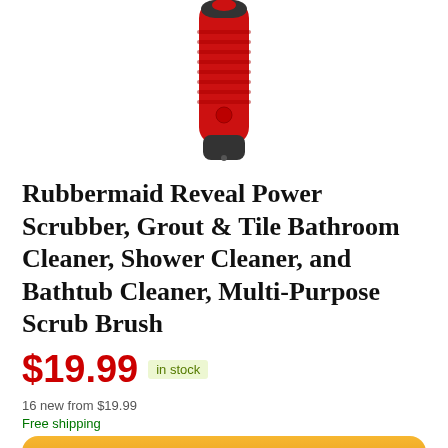[Figure (photo): Partial view of a red and black Rubbermaid Reveal Power Scrubber handle, showing the grip and lower body against a white background.]
Rubbermaid Reveal Power Scrubber, Grout & Tile Bathroom Cleaner, Shower Cleaner, and Bathtub Cleaner, Multi-Purpose Scrub Brush
$19.99  in stock
16 new from $19.99
Free shipping